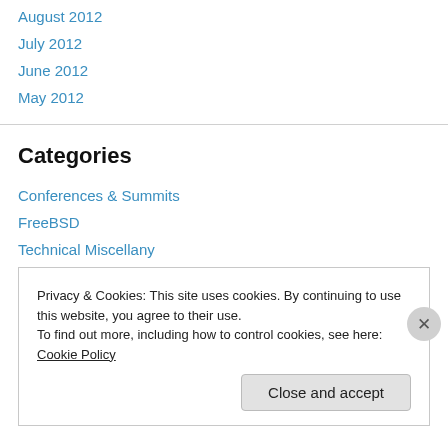August 2012
July 2012
June 2012
May 2012
Categories
Conferences & Summits
FreeBSD
Technical Miscellany
Uncategorized
Privacy & Cookies: This site uses cookies. By continuing to use this website, you agree to their use.
To find out more, including how to control cookies, see here: Cookie Policy
Close and accept